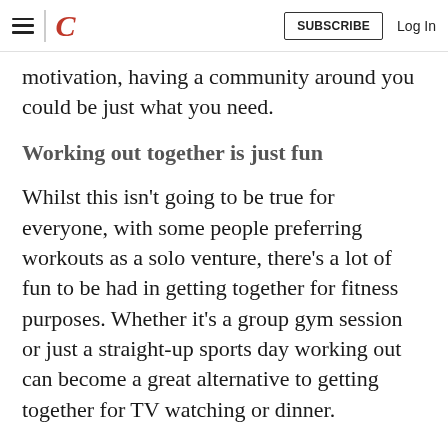≡ | C  SUBSCRIBE  Log In
motivation, having a community around you could be just what you need.
Working out together is just fun
Whilst this isn't going to be true for everyone, with some people preferring workouts as a solo venture, there's a lot of fun to be had in getting together for fitness purposes. Whether it's a group gym session or just a straight-up sports day working out can become a great alternative to getting together for TV watching or dinner.